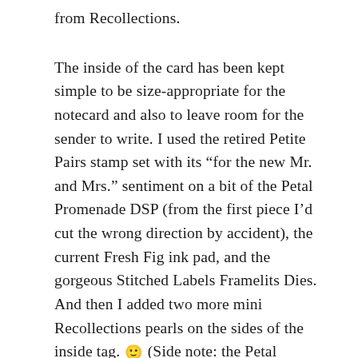from Recollections.
The inside of the card has been kept simple to be size-appropriate for the notecard and also to leave room for the sender to write. I used the retired Petite Pairs stamp set with its “for the new Mr. and Mrs.” sentiment on a bit of the Petal Promenade DSP (from the first piece I’d cut the wrong direction by accident), the current Fresh Fig ink pad, and the gorgeous Stitched Labels Framelits Dies. And then I added two more mini Recollections pearls on the sides of the inside tag. 🙂 (Side note: the Petal Promenade DSP pack is one of my favorite things in this catalog. The papers are just so beautiful!)